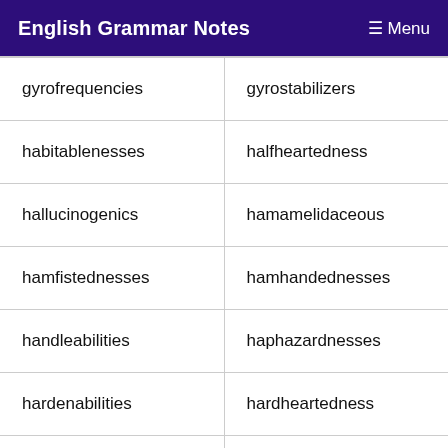English Grammar Notes   ☰ Menu
| gyrofrequencies | gyrostabilizers |
| habitablenesses | halfheartedness |
| hallucinogenics | hamamelidaceous |
| hamfistednesses | hamhandednesses |
| handleabilities | haphazardnesses |
| hardenabilities | hardheartedness |
| harebrainedness | hastelessnesses |
| hazardousnesses | headmasterships |
| healthfulnesses | heartbreakingly |